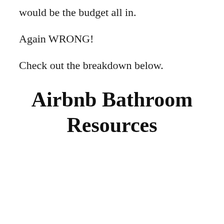would be the budget all in.
Again WRONG!
Check out the breakdown below.
Airbnb Bathroom Resources